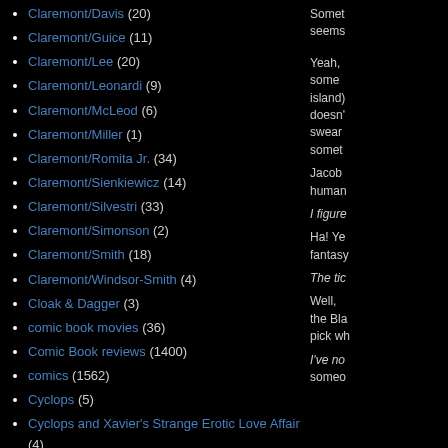Claremont/Davis (20)
Claremont/Guice (11)
Claremont/Lee (20)
Claremont/Leonardi (9)
Claremont/McLeod (6)
Claremont/Miller (1)
Claremont/Romita Jr. (34)
Claremont/Sienkiewicz (14)
Claremont/Silvestri (33)
Claremont/Simonson (2)
Claremont/Smith (18)
Claremont/Windsor-Smith (4)
Cloak & Dagger (3)
comic book movies (36)
Comic Book reviews (1400)
comics (1562)
Cyclops (5)
Cyclops and Xavier's Strange Erotic Love Affair (4)
Daredevil (9)
Darth Vader (2)
David/Buscema (4)
David/Keown (2)
Somet seems
Yeah, some island) doesn't swear somet
Jacob human
I figure
Ha! Ye fantasy
The tic
Well, the Bla pick wh
I've no someo